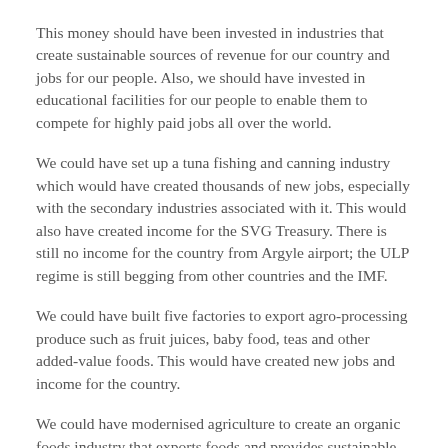This money should have been invested in industries that create sustainable sources of revenue for our country and jobs for our people. Also, we should have invested in educational facilities for our people to enable them to compete for highly paid jobs all over the world.
We could have set up a tuna fishing and canning industry which would have created thousands of new jobs, especially with the secondary industries associated with it. This would also have created income for the SVG Treasury. There is still no income for the country from Argyle airport; the ULP regime is still begging from other countries and the IMF.
We could have built five factories to export agro-processing produce such as fruit juices, baby food, teas and other added-value foods. This would have created new jobs and income for the country.
We could have modernised agriculture to create an organic foods industry that exports foods and provides sustainable incomes for farmers. At present, about EC$200 million a year is spent on imported food and that is money that should be going in to Vincentian farmers’ pockets every year. Food would also be cheaper in SVG. We could have built a marketing corporation in Marriaqua to help farmers tap in to foreign markets and export.
SVG has lost hundreds of acres of prime agriculture lands, previously used to cultivate peanuts, sweet potatoes, pineapples, corn and other short